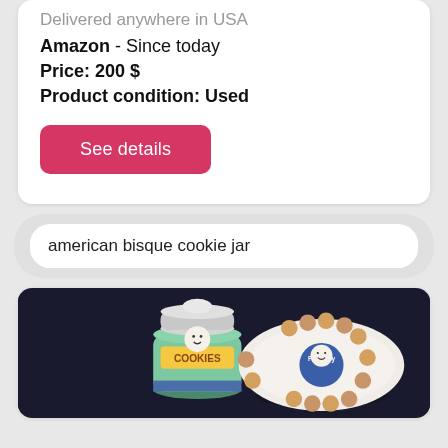Delivered anywhere in USA
Amazon - Since today
Price: 200 $
Product condition: Used
See details
american bisque cookie jar
[Figure (photo): Photo of American bisque cookie jar products including a Pillsbury Doughboy cookie jar and a decorative oval plate with cookie designs on a dark background]